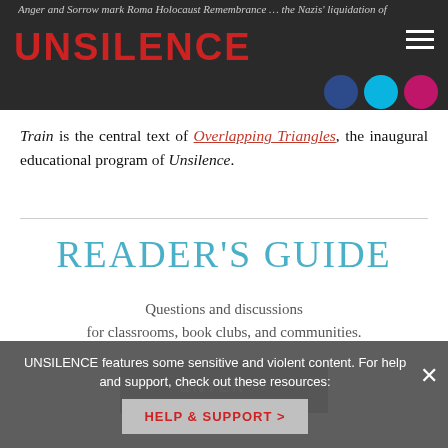UNSILENCE
Train is the central text of Overlapping Triangles, the inaugural educational program of Unsilence.
READER'S GUIDE
Questions and discussions for classrooms, book clubs, and communities.
ENTER >
UNSILENCE features some sensitive and violent content. For help and support, check out these resources:
HELP & SUPPORT >